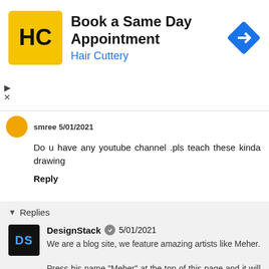[Figure (screenshot): Advertisement banner for Hair Cuttery: Book a Same Day Appointment]
smree 5/01/2021
Do u have any youtube channel .pls teach these kinda drawing
Reply
Replies
DesignStack 5/01/2021
We are a blog site, we feature amazing artists like Meher.
Press his name "Meher" at the top of this page and it will take you to his Instagram page. There there is a link to his YouTube channel.
Don't forget, we publish new art every day, check out our front page.